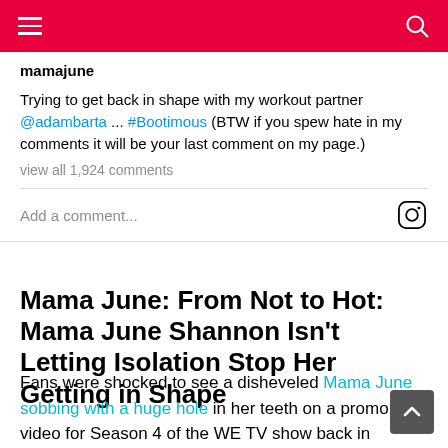mamajune
Trying to get back in shape with my workout partner @adambarta ... #Bootimous (BTW if you spew hate in my comments it will be your last comment on my page.)
view all 1,924 comments
Add a comment...
Mama June: From Not to Hot: Mama June Shannon Isn't Letting Isolation Stop Her Getting in Shape
Fans were shocked to see a disheveled Mama June sobbing with a huge hole in her teeth on a promo video for Season 4 of the WE TV show back in February.